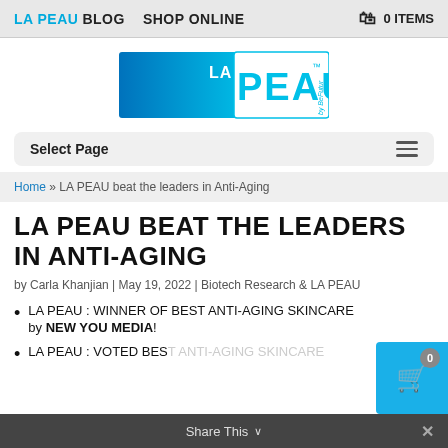LA PEAU BLOG   SHOP ONLINE   0 ITEMS
[Figure (logo): LA PEAU by BeFutur logo — gradient blue rectangle on left, white background with 'LA PEAU' text and 'by BeFutur' italic text on right]
Select Page
Home » LA PEAU beat the leaders in Anti-Aging
LA PEAU BEAT THE LEADERS IN ANTI-AGING
by Carla Khanjian | May 19, 2022 | Biotech Research & LA PEAU
LA PEAU : WINNER OF BEST ANTI-AGING SKINCARE by NEW YOU MEDIA!
LA PEAU : VOTED BEST ANTI-AGING SKINCARE